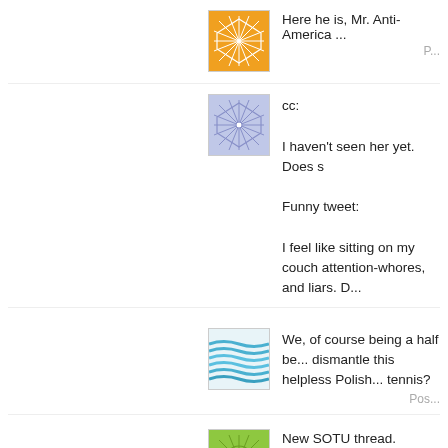[Figure (illustration): Orange geometric pattern avatar with star/web design]
Here he is, Mr. Anti-America ...
P...
[Figure (illustration): Blue/purple geometric star pattern avatar]
cc:

I haven't seen her yet. Does s

Funny tweet:

I feel like sitting on my couch attention-whores, and liars. D...
[Figure (illustration): Blue wavy lines / water pattern avatar]
We, of course being a half be... dismantle this helpless Polish... tennis?
Pos...
[Figure (illustration): Green geometric sunburst pattern avatar]
New SOTU thread.
[Figure (illustration): Green/yellow textured pattern avatar (partially visible)]